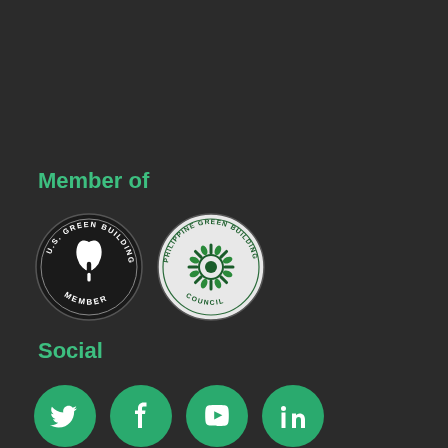Member of
[Figure (logo): U.S. Green Building Council Member badge (circular black and white logo) and Philippine Green Building Council circular logo, side by side]
Social
[Figure (infographic): Four green circular social media icons: Twitter, Facebook, YouTube, LinkedIn]